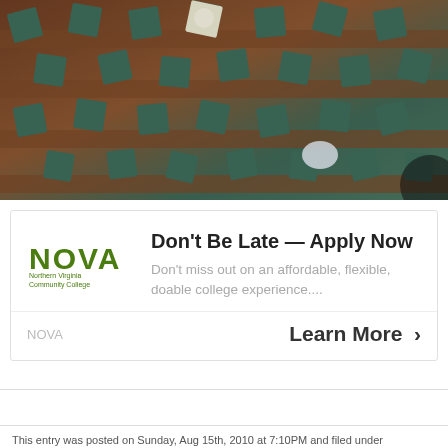[Figure (photo): Aerial view of graduation ceremony showing rows of students wearing dark green graduation caps and gowns seated in auditorium chairs]
Don't Be Late — Apply Now
Don't miss out on an affordable, flexible, doable college experience....
NOVA
Learn More >
This entry was posted on Sunday, Aug 15th, 2010 at 7:10PM and filed under